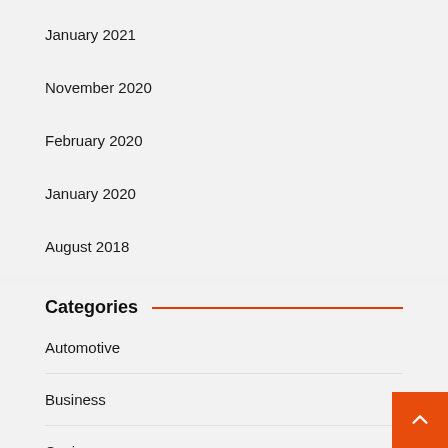January 2021
November 2020
February 2020
January 2020
August 2018
Categories
Automotive
Business
Casino